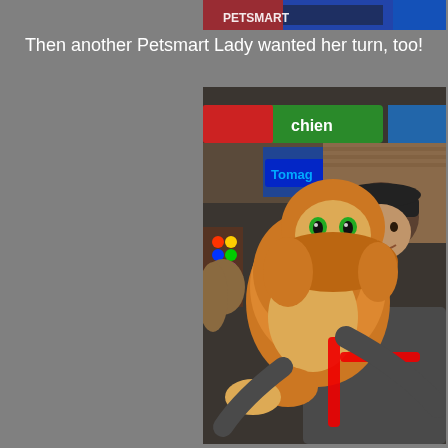[Figure (photo): Top portion of a photo showing colorful signage, partially cropped at top of page]
Then another Petsmart Lady wanted her turn, too!
[Figure (photo): A man with a baseball cap smiling and holding a very large fluffy orange/ginger Maine Coon cat with green eyes and a red leash, inside a PetSmart store with green 'chien' signage visible in the background]